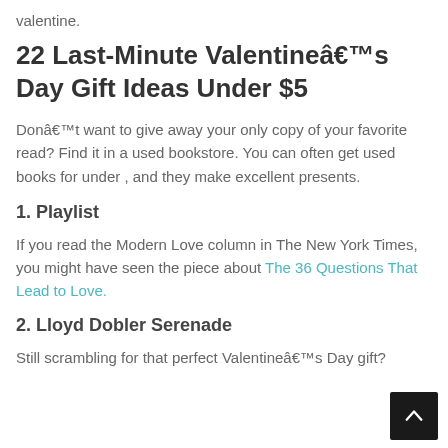valentine.
22 Last-Minute Valentineâs Day Gift Ideas Under $5
Donât want to give away your only copy of your favorite read? Find it in a used bookstore. You can often get used books for under , and they make excellent presents.
1. Playlist
If you read the Modern Love column in The New York Times, you might have seen the piece about The 36 Questions That Lead to Love.
2. Lloyd Dobler Serenade
Still scrambling for that perfect Valentineâs Day gift?